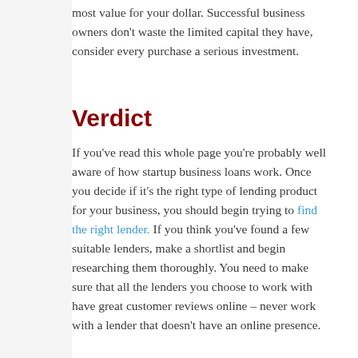most value for your dollar. Successful business owners don't waste the limited capital they have, consider every purchase a serious investment.
Verdict
If you've read this whole page you're probably well aware of how startup business loans work. Once you decide if it's the right type of lending product for your business, you should begin trying to find the right lender. If you think you've found a few suitable lenders, make a shortlist and begin researching them thoroughly. You need to make sure that all the lenders you choose to work with have great customer reviews online – never work with a lender that doesn't have an online presence.